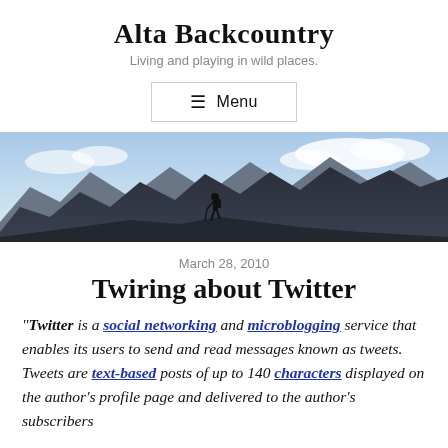Alta Backcountry
Living and playing in wild places.
☰ Menu
[Figure (photo): Panoramic mountain landscape with a lone hiker on a ridge under a partly cloudy sky]
March 28, 2010
Twiring about Twitter
"Twitter is a social networking and microblogging service that enables its users to send and read messages known as tweets. Tweets are text-based posts of up to 140 characters displayed on the author's profile page and delivered to the author's subscribers